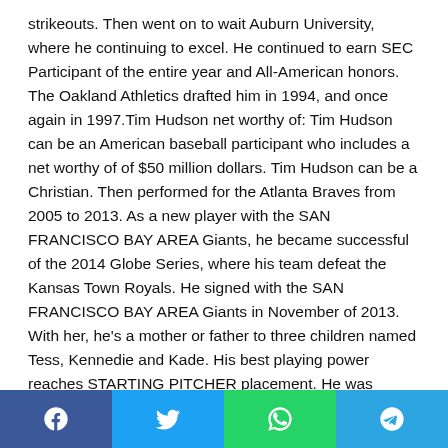strikeouts. Then went on to wait Auburn University, where he continuing to excel. He continued to earn SEC Participant of the entire year and All-American honors. The Oakland Athletics drafted him in 1994, and once again in 1997.Tim Hudson net worthy of: Tim Hudson can be an American baseball participant who includes a net worthy of of $50 million dollars. Tim Hudson can be a Christian. Then performed for the Atlanta Braves from 2005 to 2013. As a new player with the SAN FRANCISCO BAY AREA Giants, he became successful of the 2014 Globe Series, where his team defeat the Kansas Town Royals. He signed with the SAN FRANCISCO BAY AREA Giants in November of 2013. With her, he's a mother or father to three children named Tess, Kennedie and Kade. His best playing power reaches STARTING PITCHER placement. He was
Share buttons: Facebook, Twitter, WhatsApp, Telegram